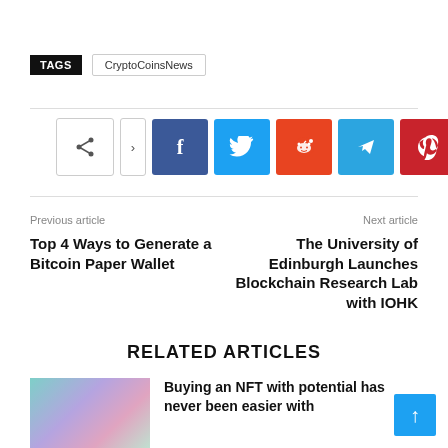TAGS   CryptoCoinsNews
[Figure (infographic): Social share buttons row: share icon, arrow, Facebook, Twitter, Reddit, Telegram, Pinterest, WhatsApp]
Previous article
Top 4 Ways to Generate a Bitcoin Paper Wallet
Next article
The University of Edinburgh Launches Blockchain Research Lab with IOHK
RELATED ARTICLES
[Figure (photo): Colorful abstract image for NFT article]
Buying an NFT with potential has never been easier with